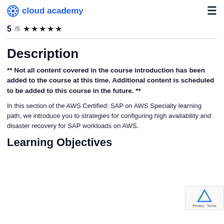cloud academy
5/5 ★★★★★
Description
** Not all content covered in the course introduction has been added to the course at this time. Additional content is scheduled to be added to this course in the future. **
In this section of the AWS Certified: SAP on AWS Specialty learning path, we introduce you to strategies for configuring high availability and disaster recovery for SAP workloads on AWS.
Learning Objectives